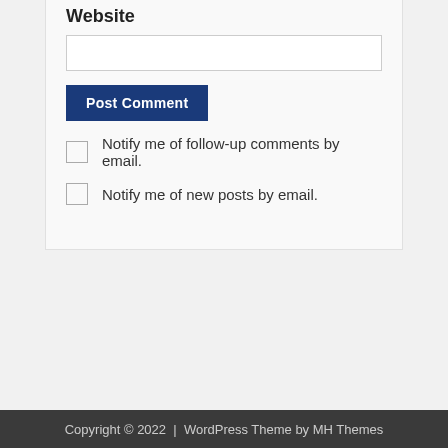Website
[Figure (screenshot): Text input field for website URL, empty, white background with border]
[Figure (screenshot): Post Comment button, dark navy blue background, white text]
Notify me of follow-up comments by email.
Notify me of new posts by email.
Copyright © 2022  |  WordPress Theme by MH Themes